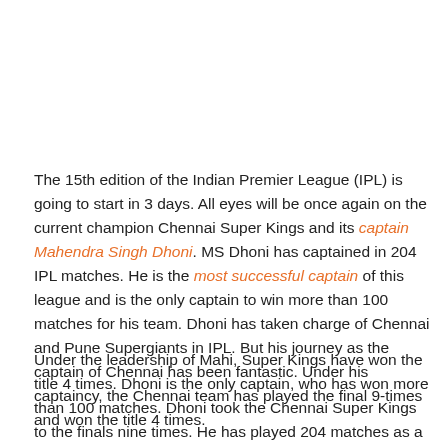The 15th edition of the Indian Premier League (IPL) is going to start in 3 days. All eyes will be once again on the current champion Chennai Super Kings and its captain Mahendra Singh Dhoni. MS Dhoni has captained in 204 IPL matches. He is the most successful captain of this league and is the only captain to win more than 100 matches for his team. Dhoni has taken charge of Chennai and Pune Supergiants in IPL. But his journey as the captain of Chennai has been fantastic. Under his captaincy, the Chennai team has played the final 9-times and won the title 4 times.
Under the leadership of Mahi, Super Kings have won the title 4 times. Dhoni is the only captain, who has won more than 100 matches. Dhoni took the Chennai Super Kings to the finals nine times. He has played 204 matches as a captain in IPL. Under